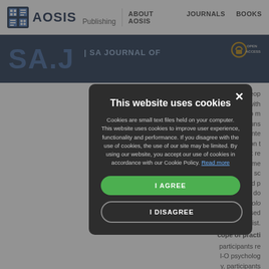AOSIS Publishing | ABOUT AOSIS | JOURNALS | BOOKS
[Figure (screenshot): AOSIS Publishing navigation bar with logo and menu items: ABOUT AOSIS, JOURNALS, BOOKS]
[Figure (screenshot): SA Journal blue header bar with journal name and Open Access badge]
work with peo onfronted with contribute to m ile these couns when confronte in a position t ing and that re ion. Some lling in the sc ees can avoid p be ability to do term psycholog lly recognised ologist.
cope of practi
participants re I-O psycholog y, participants mentioned that counselling by the I-O psychologist shou defined and that the duration of the counselling needs to clarified in terms of counselling being short-term or long and how many sessions it will consist of. Lastly, particip mentioned that counselling should be included bu
[Figure (screenshot): Cookie consent modal dialog with dark background. Title: 'This website uses cookies'. Body text explaining cookie use. Blue link 'Read more'. Green 'I AGREE' button and outlined 'I DISAGREE' button. Close X button in top right.]